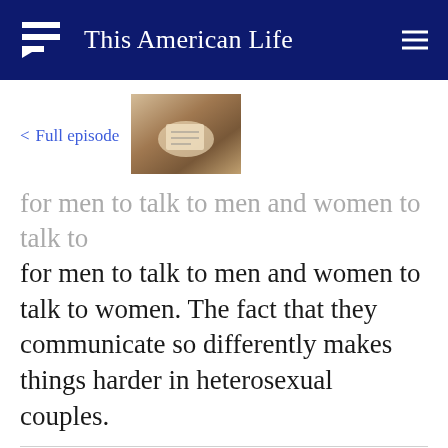This American Life
< Full episode
[Figure (photo): Thumbnail image showing hands holding a document or letter]
for men to talk to men and women to talk to women. The fact that they communicate so differently makes things harder in heterosexual couples.
We use cookies and other tracking technologies to enhance your browsing experience. If you continue to use our site, you agree to the use of such cookies. For more info, see our privacy policy.
assaulting, but ultimately blasting down into